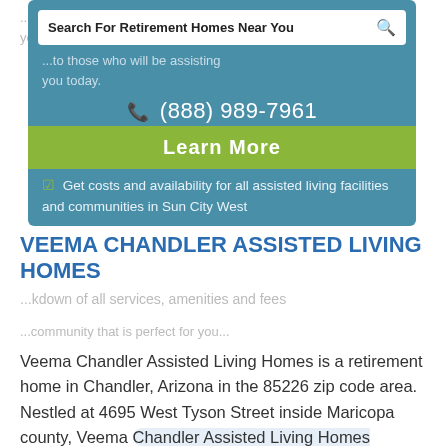[Figure (screenshot): Retirement home search popup overlay with teal background, showing search bar 'Search For Retirement Homes Near You', phone number (888) 989-7961, Learn More green button, and checklist item about costs and availability for assisted living facilities in Sun City West.]
VEEMA CHANDLER ASSISTED LIVING HOMES
Veema Chandler Assisted Living Homes is a retirement home in Chandler, Arizona in the 85226 zip code area. Nestled at 4695 West Tyson Street inside Maricopa county, Veema Chandler Assisted Living Homes provides retirement living to all senior citizens who live in Chandler and offers a family environment, as well as accommodating dietary menu, visiting